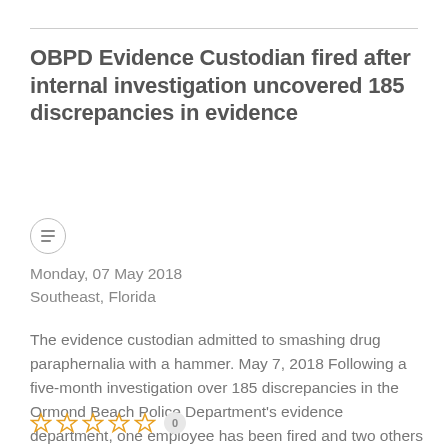OBPD Evidence Custodian fired after internal investigation uncovered 185 discrepancies in evidence
Monday, 07 May 2018
Southeast, Florida
The evidence custodian admitted to smashing drug paraphernalia with a hammer. May 7, 2018 Following a five-month investigation over 185 discrepancies in the Ormond Beach Police Department's evidence department, one employee has been fired and two others recommended for counsel, said Police Chief Jesse Godfrey during a press conference on Tuesday. A...